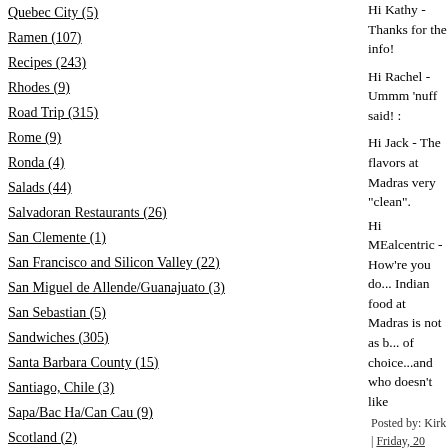Quebec City (5)
Ramen (107)
Recipes (243)
Rhodes (9)
Road Trip (315)
Rome (9)
Ronda (4)
Salads (44)
Salvadoran Restaurants (26)
San Clemente (1)
San Francisco and Silicon Valley (22)
San Miguel de Allende/Guanajuato (3)
San Sebastian (5)
Sandwiches (305)
Santa Barbara County (15)
Santiago, Chile (3)
Sapa/Bac Ha/Can Cau (9)
Scotland (2)
Hi Kathy - Thanks for the info!
Hi Rachel - Ummm 'nuff said! :
Hi Jack - The flavors at Madras very "clean".
Hi MEalcentric - How're you do... Indian food at Madras is not as b... of choice...and who doesn't like
Posted by: Kirk | Friday, 20 January 2
[Figure (illustration): Green patterned square avatar with geometric/stone pattern]
Kirk...been feeling lazy and not
Posted by: MEalcnetric | Saturday, 21
[Figure (illustration): Green patterned square avatar with geometric/stone pattern]
Hi MEalcentric - Look forward
Posted by: Kirk | Sunday, 22 January
[Figure (illustration): Green circular swirl pattern avatar]
Hi Kirk,
As a South Indian, I'd figure I'd